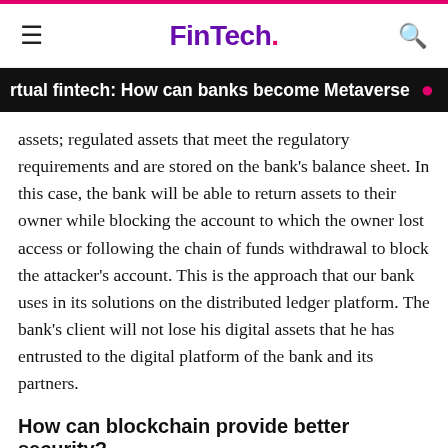FinTech.
rtual fintech: How can banks become Metaverse ready?
assets; regulated assets that meet the regulatory requirements and are stored on the bank's balance sheet. In this case, the bank will be able to return assets to their owner while blocking the account to which the owner lost access or following the chain of funds withdrawal to block the attacker's account. This is the approach that our bank uses in its solutions on the distributed ledger platform. The bank's client will not lose his digital assets that he has entrusted to the digital platform of the bank and its partners.
How can blockchain provide better security?
Security in blockchain technology does not differ from approaches to ensuring the security of information systems, and they always require an integrated